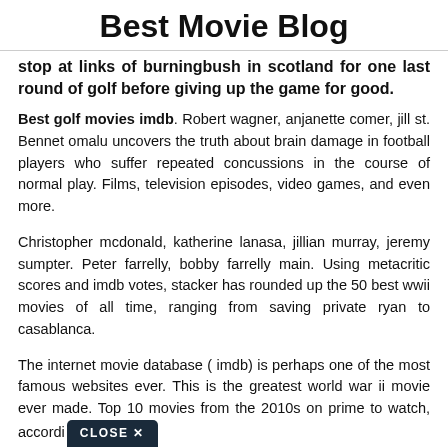Best Movie Blog
stop at links of burningbush in scotland for one last round of golf before giving up the game for good.
Best golf movies imdb. Robert wagner, anjanette comer, jill st. Bennet omalu uncovers the truth about brain damage in football players who suffer repeated concussions in the course of normal play. Films, television episodes, video games, and even more.
Christopher mcdonald, katherine lanasa, jillian murray, jeremy sumpter. Peter farrelly, bobby farrelly main. Using metacritic scores and imdb votes, stacker has rounded up the 50 best wwii movies of all time, ranging from saving private ryan to casablanca.
The internet movie database ( imdb) is perhaps one of the most famous websites ever. This is the greatest world war ii movie ever made. Top 10 movies from the 2010s on prime to watch, accordi CLOSE ✕